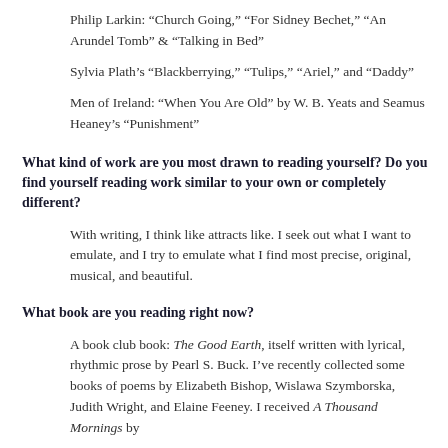Philip Larkin: “Church Going,” “For Sidney Bechet,” “An Arundel Tomb” & “Talking in Bed”
Sylvia Plath’s “Blackberrying,” “Tulips,” “Ariel,” and “Daddy”
Men of Ireland: “When You Are Old” by W. B. Yeats and Seamus Heaney’s “Punishment”
What kind of work are you most drawn to reading yourself? Do you find yourself reading work similar to your own or completely different?
With writing, I think like attracts like. I seek out what I want to emulate, and I try to emulate what I find most precise, original, musical, and beautiful.
What book are you reading right now?
A book club book: The Good Earth, itself written with lyrical, rhythmic prose by Pearl S. Buck. I’ve recently collected some books of poems by Elizabeth Bishop, Wislawa Szymborska, Judith Wright, and Elaine Feeney. I received A Thousand Mornings by